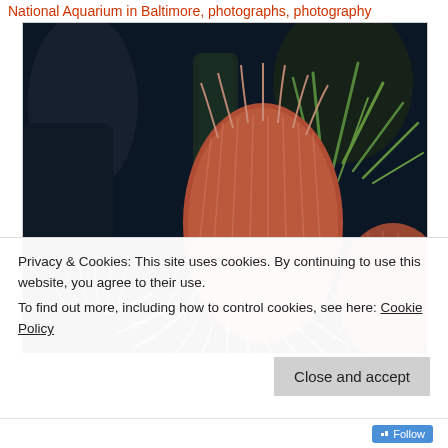National Aquarium in Baltimore, photographs, photography
[Figure (photo): Underwater photograph of sea anemones at the National Aquarium in Baltimore. A large orange-red ribbed sea anemone dominates the center, surrounded by green and pale tentacled anemones against a dark aquatic background.]
Privacy & Cookies: This site uses cookies. By continuing to use this website, you agree to their use.
To find out more, including how to control cookies, see here: Cookie Policy
Follow